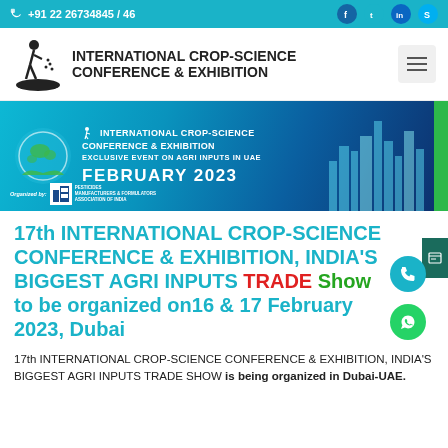+91 22 26734845 / 46
[Figure (logo): International Crop-Science Conference & Exhibition logo with farmer figure]
[Figure (infographic): Banner showing International Crop-Science Conference & Exhibition, Exclusive Event on Agri Inputs in UAE, February 2023, Dubai, organized by Pesticides Manufacturers & Formulators Association of India]
17th INTERNATIONAL CROP-SCIENCE CONFERENCE & EXHIBITION, INDIA'S BIGGEST AGRI INPUTS TRADE Show to be organized on16 & 17 February 2023, Dubai
17th INTERNATIONAL CROP-SCIENCE CONFERENCE & EXHIBITION, INDIA'S BIGGEST AGRI INPUTS TRADE SHOW is being organized in Dubai-UAE.